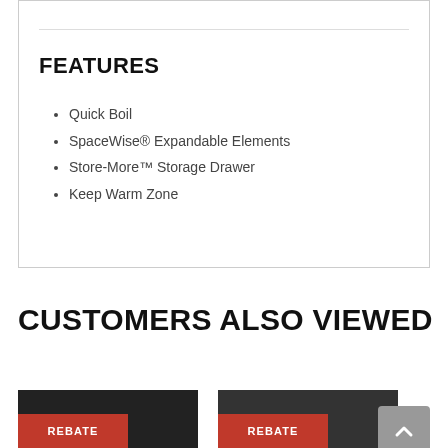FEATURES
Quick Boil
SpaceWise® Expandable Elements
Store-More™ Storage Drawer
Keep Warm Zone
CUSTOMERS ALSO VIEWED
[Figure (other): Two product thumbnail images with red REBATE banners at the bottom of the page]